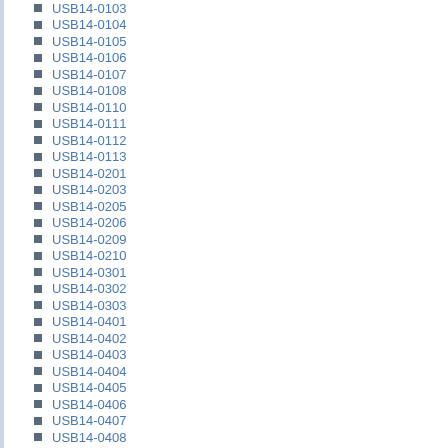USB14-0103
USB14-0104
USB14-0105
USB14-0106
USB14-0107
USB14-0108
USB14-0110
USB14-0111
USB14-0112
USB14-0113
USB14-0201
USB14-0203
USB14-0205
USB14-0206
USB14-0209
USB14-0210
USB14-0301
USB14-0302
USB14-0303
USB14-0401
USB14-0402
USB14-0403
USB14-0404
USB14-0405
USB14-0406
USB14-0407
USB14-0408